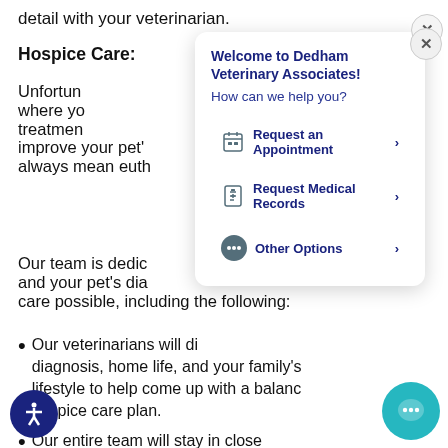detail with your veterinarian.
Hospice Care:
Unfortunately there comes a time where your pet's condition and treatment options are no longer able to improve your pet's health. That doesn't always mean euthanasia.
Our team is dedicated to working with you and your pet's diagnosis to provide the best care possible, including the following:
Our veterinarians will discuss your pet's diagnosis, home life, and your family's lifestyle to help come up with a balanced hospice care plan.
Our entire team will stay in close
[Figure (screenshot): Chat popup overlay from Dedham Veterinary Associates website with title 'Welcome to Dedham Veterinary Associates!', subtitle 'How can we help you?', and three buttons: 'Request an Appointment', 'Request Medical Records', 'Other Options'. A close X button is shown in the top right corner.]